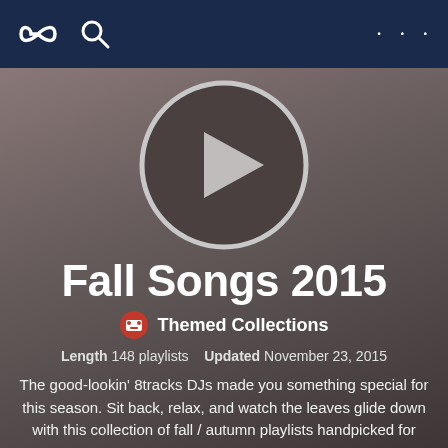8tracks app navigation bar with infinity icon, search icon, and ellipsis menu
[Figure (illustration): Circular play button with dark gray background and white/light gray play triangle in center, surrounded by a light gray ring border]
Fall Songs 2015
Themed Collections
Length 148 playlists   Updated November 23, 2015
The good-lookin' 8tracks DJs made you something special for this season. Sit back, relax, and watch the leaves glide down with this collection of fall / autumn playlists handpicked for you.